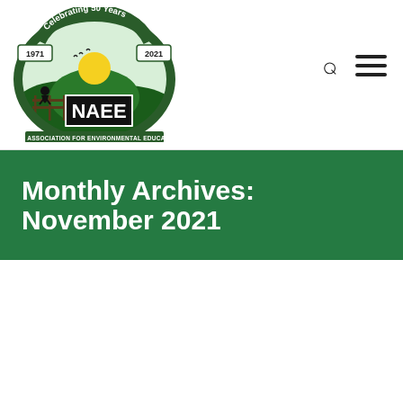[Figure (logo): NAEE (National Association for Environmental Education UK) logo. Circular emblem with 'Celebrating 50 Years' banner, years 1971 and 2021, green hills, yellow sun, birds, fence with silhouette of person. NAEE text in bold. 'NATIONAL ASSOCIATION FOR ENVIRONMENTAL EDUCATION (UK)' around border. Below: 'Registered charity no. 1166502']
Monthly Archives: November 2021